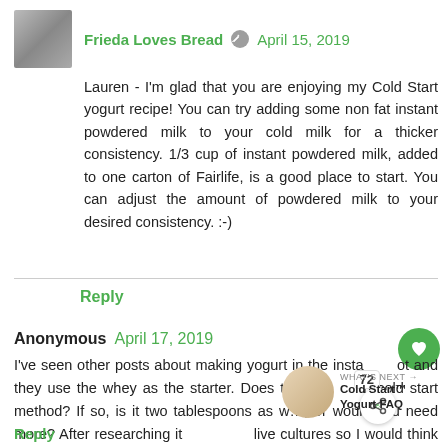[Figure (photo): Avatar photo of a woman with blonde hair]
Frieda Loves Bread  April 15, 2019
Lauren - I'm glad that you are enjoying my Cold Start yogurt recipe! You can try adding some non fat instant powdered milk to your cold milk for a thicker consistency. 1/3 cup of instant powdered milk, added to one carton of Fairlife, is a good place to start. You can adjust the amount of powdered milk to your desired consistency. :-)
Reply
Anonymous  April 17, 2019
I've seen other posts about making yogurt in the insta  ot and they use the whey as the starter. Does this wo  h cold start method? If so, is it two tablespoons as w..., or would you need more? After researching it live cultures so I would think so but consistency make the final product looser?
Reply